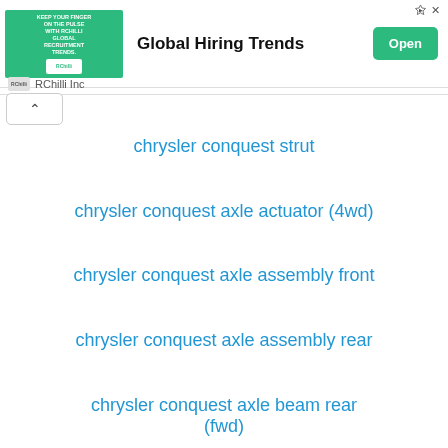[Figure (other): Advertisement banner for RChilli Inc - Global Hiring Trends with green Open button]
chrysler conquest strut
chrysler conquest axle actuator (4wd)
chrysler conquest axle assembly front
chrysler conquest axle assembly rear
chrysler conquest axle beam rear (fwd)